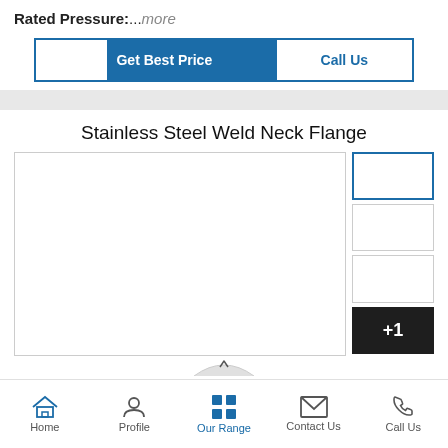Rated Pressure:...more
[Figure (screenshot): Two call-to-action buttons: 'Get Best Price' (blue fill) and 'Call Us' (blue outline with blue icon block)]
Stainless Steel Weld Neck Flange
[Figure (photo): Product image gallery area with a large main image placeholder and four thumbnail boxes on the right, the last showing '+1']
Home | Profile | Our Range | Contact Us | Call Us